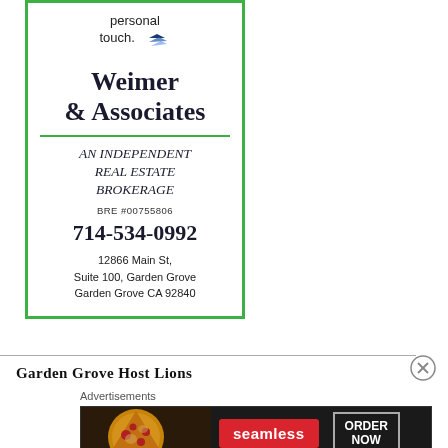[Figure (illustration): Advertisement for Weimer & Associates real estate brokerage. Green border box containing: 'personal touch.' text with blue chevron logo, bold 'Weimer & Associates' heading, green divider line, 'AN INDEPENDENT REAL ESTATE BROKERAGE' in italic, 'BRE #00755806', phone '714-534-0992', address '12866 Main St, Suite 100, Garden Grove, Garden Grove CA 92840']
Garden Grove Host Lions
[Figure (screenshot): Advertisements banner with Seamless food delivery ad showing pizza image, red Seamless badge, and 'ORDER NOW' box on dark background]